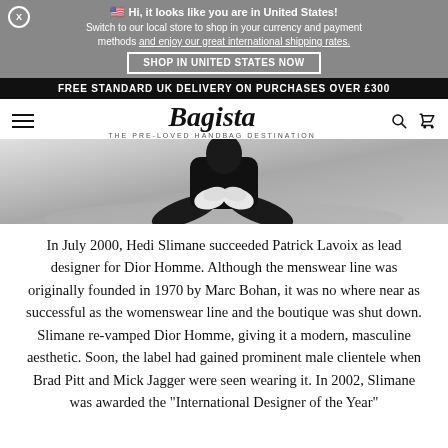🇺🇸 Hi, it looks like you are in United States! Switch to our local store to shop in your currency and payment methods and enjoy our great international shipping rates. SHOP IN UNITED STATES NOW
FREE STANDARD UK DELIVERY ON PURCHASES OVER £300
Bagista — THE PRE-LOVED HANDBAG DESTINATION
[Figure (photo): Black and white photo of a person sitting on the floor, hands clasped over knees, wearing dark clothing and boots]
In July 2000, Hedi Slimane succeeded Patrick Lavoix as lead designer for Dior Homme. Although the menswear line was originally founded in 1970 by Marc Bohan, it was no where near as successful as the womenswear line and the boutique was shut down. Slimane re-vamped Dior Homme, giving it a modern, masculine aesthetic. Soon, the label had gained prominent male clientele when Brad Pitt and Mick Jagger were seen wearing it. In 2002, Slimane was awarded the "International Designer of the Year"